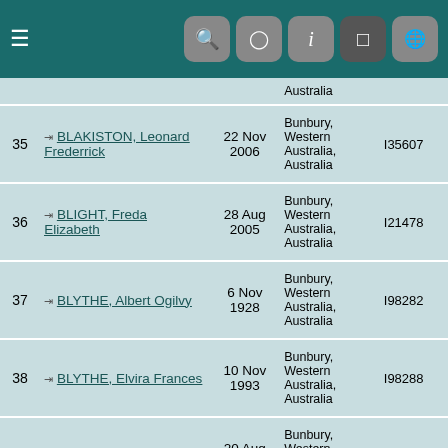Menu | Search | Camera | Info | Settings | Globe
| # | Name | Date | Place | ID |
| --- | --- | --- | --- | --- |
|  |  |  | Australia |  |
| 35 | BLAKISTON, Leonard Frederrick | 22 Nov 2006 | Bunbury, Western Australia, Australia | I35607 |
| 36 | BLIGHT, Freda Elizabeth | 28 Aug 2005 | Bunbury, Western Australia, Australia | I21478 |
| 37 | BLYTHE, Albert Ogilvy | 6 Nov 1928 | Bunbury, Western Australia, Australia | I98282 |
| 38 | BLYTHE, Elvira Frances | 10 Nov 1993 | Bunbury, Western Australia, Australia | I98288 |
| 39 | BLYTHE, Joseph | 20 Aug 1919 | Bunbury, Western Australia, Australia | I98238 |
| 40 | BLYTHE, Louisa Mary | 11 Nov 1923 | Bunbury, Western Australia, Australia | I101423 |